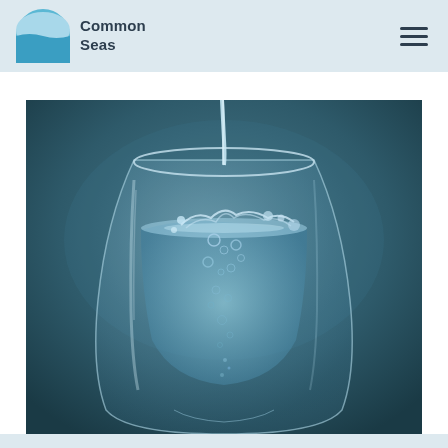Common Seas
[Figure (photo): Close-up photograph of water being poured into a clear glass. Water splashes and bubbles are visible inside the glass against a dark teal/grey background.]